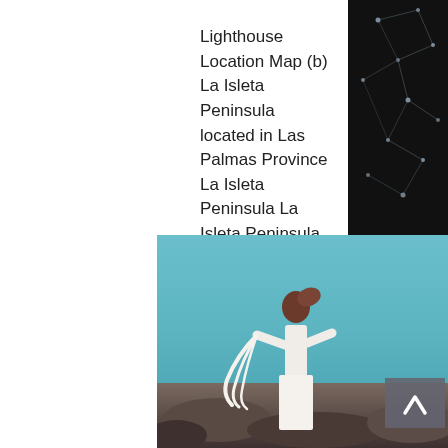Lighthouse Location Map (b) La Isleta Peninsula located in Las Palmas Province La Isleta Peninsula La Isleta Peninsula Coordinates 28 ° 09'52 " N 15 ° 25'09 " OC Coordinates: 28 ° 09'52 " N 15 ° 25'09 " W (map) [edit data in Wikidata]
[Figure (photo): A person wearing a white crochet/knit dress and holding flowing white fabric, standing outdoors on rocky terrain with a blue sky background. The person has curly hair blowing in the wind.]